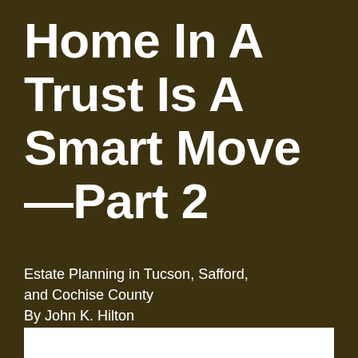Home In A Trust Is A Smart Move—Part 2
Estate Planning in Tucson, Safford, and Cochise County
By John K. Hilton